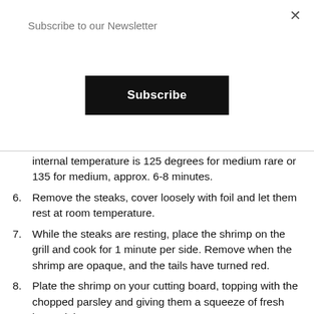Subscribe to our Newsletter
Subscribe
internal temperature is 125 degrees for medium rare or 135 for medium, approx. 6-8 minutes.
6. Remove the steaks, cover loosely with foil and let them rest at room temperature.
7. While the steaks are resting, place the shrimp on the grill and cook for 1 minute per side. Remove when the shrimp are opaque, and the tails have turned red.
8. Plate the shrimp on your cutting board, topping with the chopped parsley and giving them a squeeze of fresh lemon juice.
9. Slice the steaks into even slices and plate alongside the shrimp.
10. Enjoy...